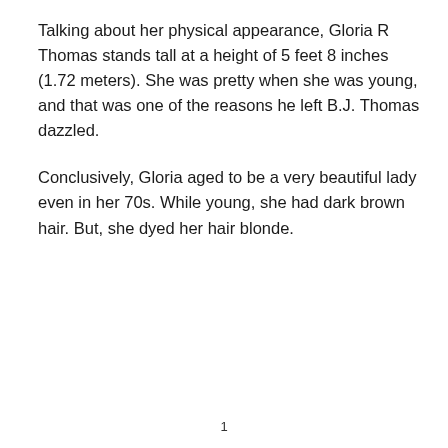Talking about her physical appearance, Gloria R Thomas stands tall at a height of 5 feet 8 inches (1.72 meters). She was pretty when she was young, and that was one of the reasons he left B.J. Thomas dazzled.
Conclusively, Gloria aged to be a very beautiful lady even in her 70s. While young, she had dark brown hair. But, she dyed her hair blonde.
1